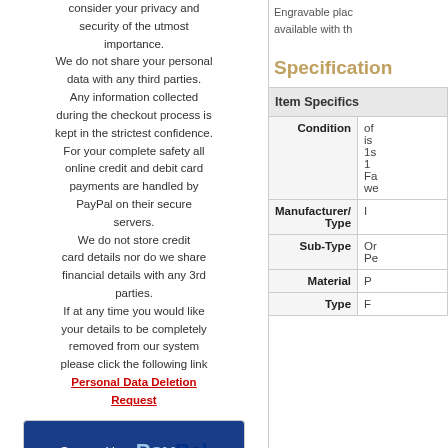consider your privacy and security of the utmost importance. We do not share your personal data with any third parties. Any information collected during the checkout process is kept in the strictest confidence. For your complete safety all online credit and debit card payments are handled by PayPal on their secure servers. We do not store credit card details nor do we share financial details with any 3rd parties. If at any time you would like your details to be completely removed from our system please click the following link
Personal Data Deletion Request
[Figure (logo): Secured by PayPal badge - blue background with white 'Secured by' text and PayPal logo]
How PayPal Works
Engravable plac available with th
Specification
| Item Specifics |  |
| --- | --- |
| Condition | of is 1s 1 Fa we |
| Manufacturer/ Type | I |
| Sub-Type | Or Pe |
| Material | P |
| Type | F |